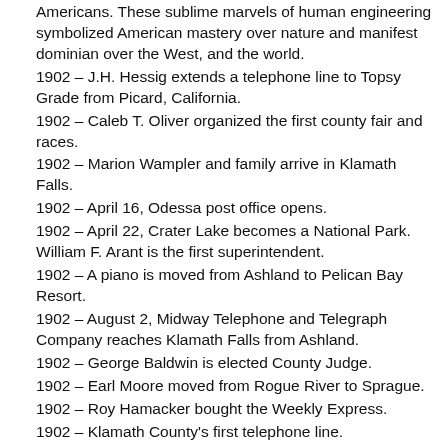Americans. These sublime marvels of human engineering symbolized American mastery over nature and manifest dominian over the West, and the world.
1902 – J.H. Hessig extends a telephone line to Topsy Grade from Picard, California.
1902 – Caleb T. Oliver organized the first county fair and races.
1902 – Marion Wampler and family arrive in Klamath Falls.
1902 – April 16, Odessa post office opens.
1902 – April 22, Crater Lake becomes a National Park. William F. Arant is the first superintendent.
1902 – A piano is moved from Ashland to Pelican Bay Resort.
1902 – August 2, Midway Telephone and Telegraph Company reaches Klamath Falls from Ashland.
1902 – George Baldwin is elected County Judge.
1902 – Earl Moore moved from Rogue River to Sprague.
1902 – Roy Hamacker bought the Weekly Express.
1902 – Klamath County's first telephone line.
1902 – George Thompson elected County Judge.
1902 – Yainax Agency consisted of 25 dwellings: tepes, shacks and sod huts outside the Agency buildings' perimeter.
1902 – Dr. Stacy Hemenway was resident physician at